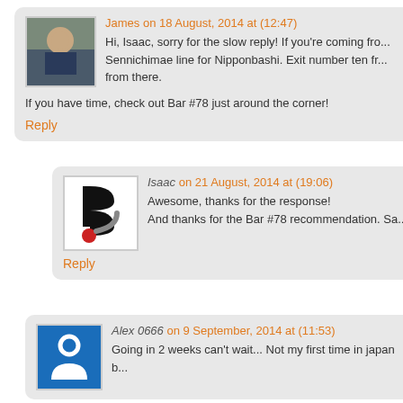James on 18 August, 2014 at (12:47)
Hi, Isaac, sorry for the slow reply! If you're coming fro... Sennichimae line for Nipponbashi. Exit number ten fr... from there.

If you have time, check out Bar #78 just around the corner!

Reply
Isaac on 21 August, 2014 at (19:06)
Awesome, thanks for the response!
And thanks for the Bar #78 recommendation. Sa...

Reply
Alex 0666 on 9 September, 2014 at (11:53)
Going in 2 weeks can't wait... Not my first time in japan b...